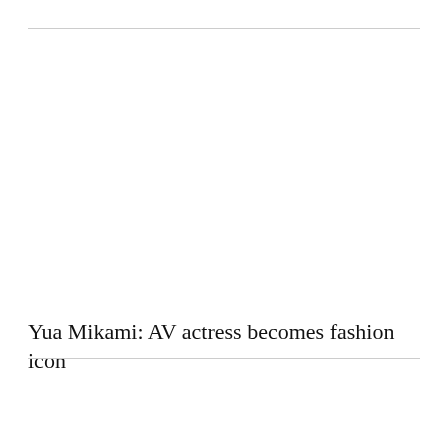Yua Mikami: AV actress becomes fashion icon